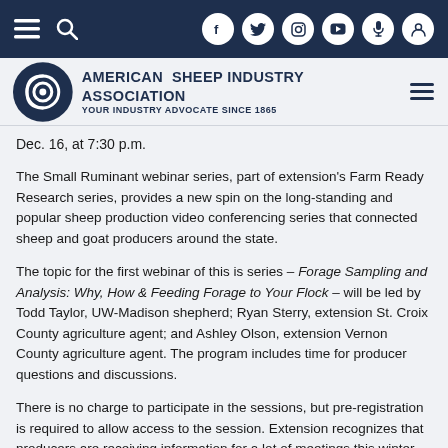American Sheep Industry Association — Your Industry Advocate Since 1865
Dec. 16, at 7:30 p.m.
The Small Ruminant webinar series, part of extension's Farm Ready Research series, provides a new spin on the long-standing and popular sheep production video conferencing series that connected sheep and goat producers around the state.
The topic for the first webinar of this is series – Forage Sampling and Analysis: Why, How & Feeding Forage to Your Flock – will be led by Todd Taylor, UW-Madison shepherd; Ryan Sterry, extension St. Croix County agriculture agent; and Ashley Olson, extension Vernon County agriculture agent. The program includes time for producer questions and discussions.
There is no charge to participate in the sessions, but pre-registration is required to allow access to the session. Extension recognizes that producers are receiving information for a lot of meetings this winter. The Farm Ready Research webinar website